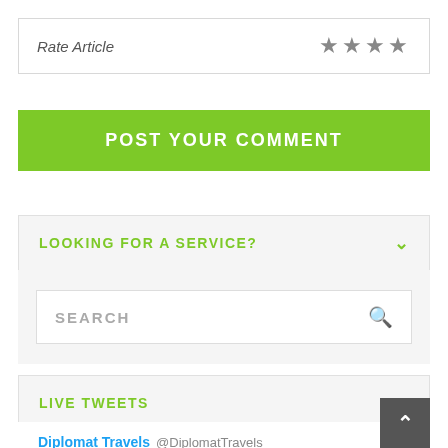Rate Article ★★★★
POST YOUR COMMENT
LOOKING FOR A SERVICE?
SEARCH
LIVE TWEETS
Diplomat Travels @DiplomatTravels